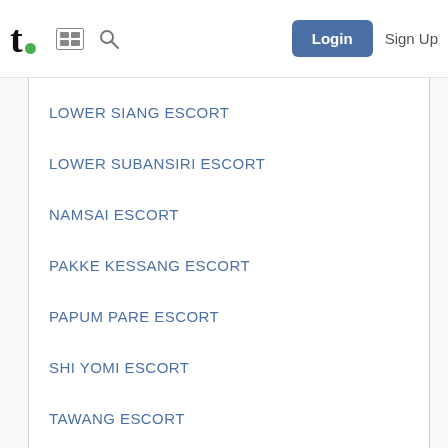t. [logo] [grid icon] [search icon] Login Sign Up
LOWER SIANG ESCORT
LOWER SUBANSIRI ESCORT
NAMSAI ESCORT
PAKKE KESSANG ESCORT
PAPUM PARE ESCORT
SHI YOMI ESCORT
TAWANG ESCORT